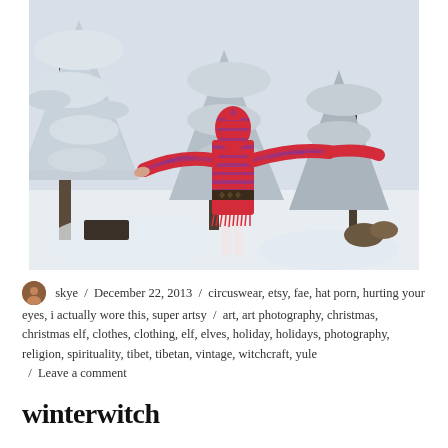[Figure (photo): A person wearing a bright red and purple striped hooded sweater dress with fringe hem, arms outstretched, standing in a snowy winter scene with snow-covered pine trees in the background. View is from behind.]
skye / December 22, 2013 / circuswear, etsy, fae, hat porn, hurting your eyes, i actually wore this, super artsy / art, art photography, christmas, christmas elf, clothes, clothing, elf, elves, holiday, holidays, photography, religion, spirituality, tibet, tibetan, vintage, witchcraft, yule / Leave a comment
winterwitch